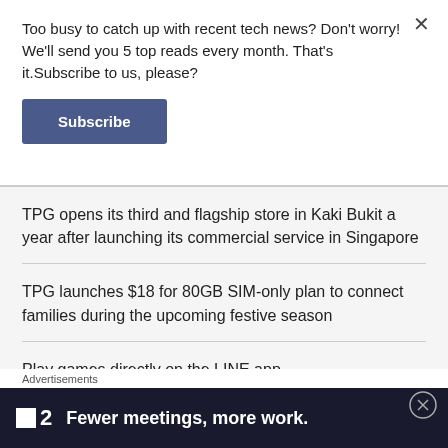Too busy to catch up with recent tech news? Don't worry! We'll send you 5 top reads every month. That's it.Subscribe to us, please?
Subscribe
TPG opens its third and flagship store in Kaki Bukit a year after launching its commercial service in Singapore
TPG launches $18 for 80GB SIM-only plan to connect families during the upcoming festive season
Play games directly on the LINE app
Advertisements
[Figure (infographic): Advertisement banner with logo showing a small white square and number 2, with text: Fewer meetings, more work.]